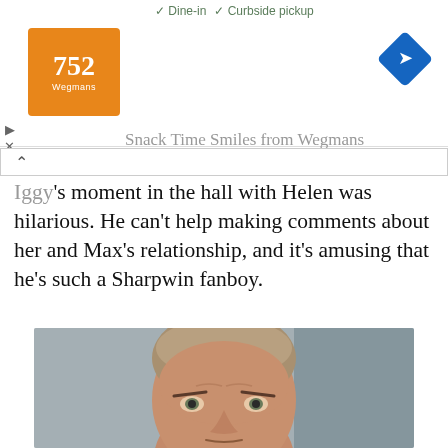✓ Dine-in  ✓ Curbside pickup
[Figure (logo): Wegmans 752 store logo advertisement banner with orange background]
Snack Time Smiles from Wegmans
Iggy's moment in the hall with Helen was hilarious. He can't help making comments about her and Max's relationship, and it's amusing that he's such a Sharpwin fanboy.
[Figure (photo): Close-up photo of a middle-aged man with slicked-back gray-blonde hair, furrowed brow, against a blurred gray background]